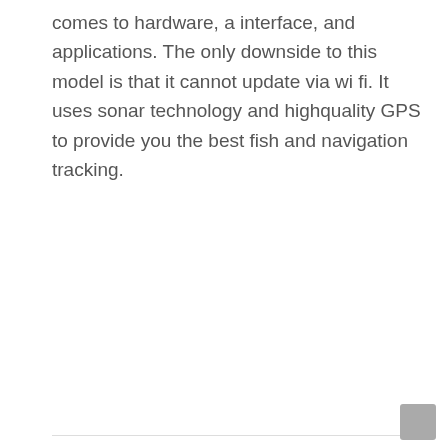comes to hardware, a interface, and applications. The only downside to this model is that it cannot update via wi fi. It uses sonar technology and highquality GPS to provide you the best fish and navigation tracking.
Previous Post
The Best Spinning Reel Reviews: A Comprehensive Guide
Next Post
Garmin Echomap Chartplotter Reviews
YOU MIGHT ALSO LIKE